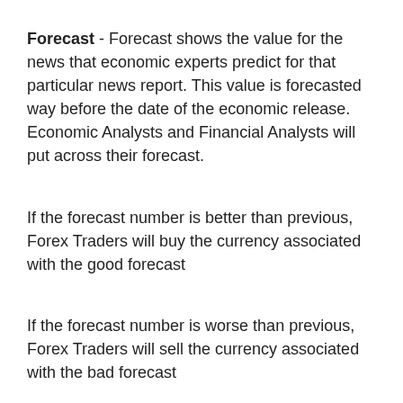Forecast - Forecast shows the value for the news that economic experts predict for that particular news report. This value is forecasted way before the date of the economic release. Economic Analysts and Financial Analysts will put across their forecast.
If the forecast number is better than previous, Forex Traders will buy the currency associated with the good forecast
If the forecast number is worse than previous, Forex Traders will sell the currency associated with the bad forecast